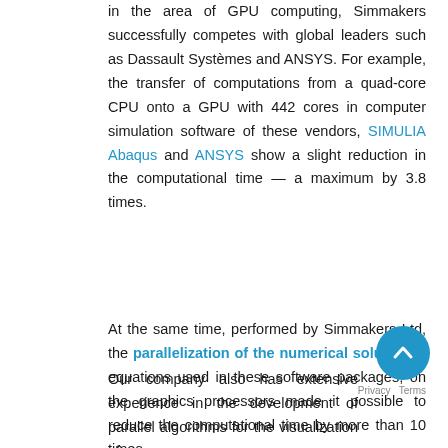in the area of GPU computing, Simmakers successfully competes with global leaders such as Dassault Systèmes and ANSYS. For example, the transfer of computations from a quad-core CPU onto a GPU with 442 cores in computer simulation software of these vendors, SIMULIA Abaqus and ANSYS show a slight reduction in the computational time — a maximum by 3.8 times.
At the same time, performed by Simmakers Ltd, the parallelization of the numerical solution of equations used in these software packages, on the graphics processors made it possible to reduce the computational time by more than 10 times.
Our company also has extensive experience in development of parallel algorithms for the visualization of
[Figure (other): A circular blue scroll-to-top button with a white upward chevron arrow, with a cookie consent footer note showing Privacy and Terms links.]